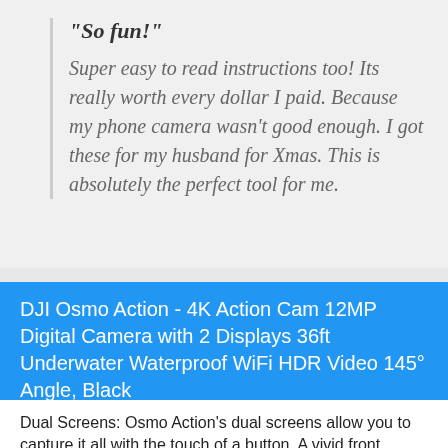"So fun!"
Super easy to read instructions too! Its really worth every dollar I paid. Because my phone camera wasn't good enough. I got these for my husband for Xmas. This is absolutely the perfect tool for me.
DJI Osmo Action - 4K Action Cam 12MP Digital Camera with 2 Displays 36ft Underwater Waterproof WiFi HDR Video 145° Angle, Black
Dual Screens: Osmo Action's dual screens allow you to capture it all with the touch of a button. A vivid front screen lets you frame yourself